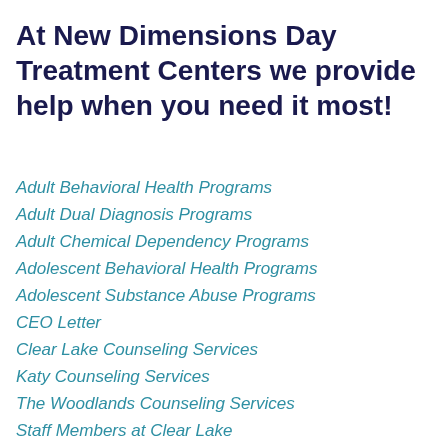At New Dimensions Day Treatment Centers we provide help when you need it most!
Adult Behavioral Health Programs
Adult Dual Diagnosis Programs
Adult Chemical Dependency Programs
Adolescent Behavioral Health Programs
Adolescent Substance Abuse Programs
CEO Letter
Clear Lake Counseling Services
Katy Counseling Services
The Woodlands Counseling Services
Staff Members at Clear Lake
Staff Members at Katy
Staff Members at The Woodlands
Our Administrative Team
Our Leadership Team
Our Psychiatrists
Mental Health Newsletters